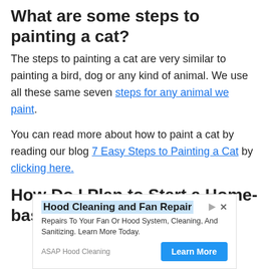What are some steps to painting a cat?
The steps to painting a cat are very similar to painting a bird, dog or any kind of animal. We use all these same seven steps for any animal we paint.
You can read more about how to paint a cat by reading our blog 7 Easy Steps to Painting a Cat by clicking here.
How Do I Plan to Start a Home-based Art Business?
[Figure (other): Advertisement banner for Hood Cleaning and Fan Repair by ASAP Hood Cleaning with a Learn More button]